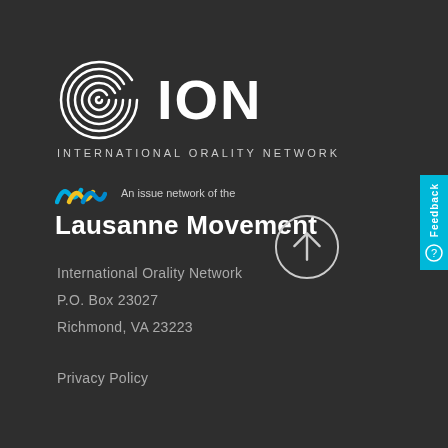[Figure (logo): ION International Orality Network logo - white spiral/wave graphic on left with ION text in bold white letters on right, and INTERNATIONAL ORALITY NETWORK subtitle below]
[Figure (logo): Lausanne Movement logo - blue and yellow wave marks with 'An issue network of the' text and 'Lausanne Movement' in bold white text]
International Orality Network
P.O. Box 23027
Richmond, VA 23223
Privacy Policy
[Figure (other): Scroll to top button - circle with upward arrow icon]